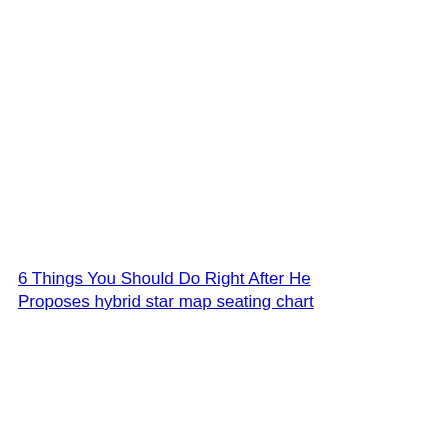6 Things You Should Do Right After He Proposes hybrid star map seating chart